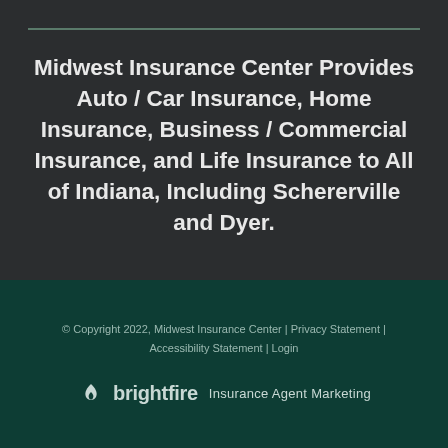Midwest Insurance Center Provides Auto / Car Insurance, Home Insurance, Business / Commercial Insurance, and Life Insurance to All of Indiana, Including Schererville and Dyer.
© Copyright 2022, Midwest Insurance Center | Privacy Statement | Accessibility Statement | Login
[Figure (logo): Brightfire logo with flame icon and text 'brightfire Insurance Agent Marketing']